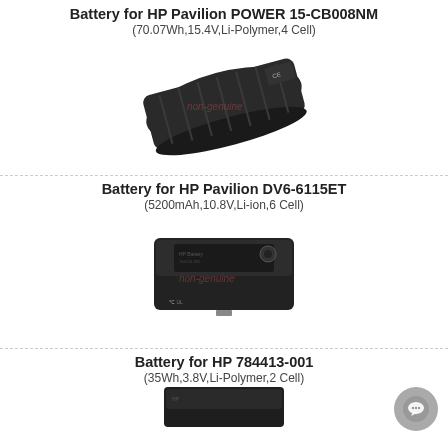Battery for HP Pavilion POWER 15-CB008NM
(70.07Wh,15.4V,Li-Polymer,4 Cell)
[Figure (photo): Photo of a black laptop battery for HP Pavilion POWER 15-CB008NM with 'non-genuine' watermark]
Battery for HP Pavilion DV6-6115ET
(5200mAh,10.8V,Li-ion,6 Cell)
[Figure (photo): Photo of a black rectangular slim laptop battery for HP 784413-001 with 'non-genuine' watermark]
Battery for HP 784413-001
(35Wh,3.8V,Li-Polymer,2 Cell)
[Figure (photo): Partial photo of another HP battery at bottom of page]